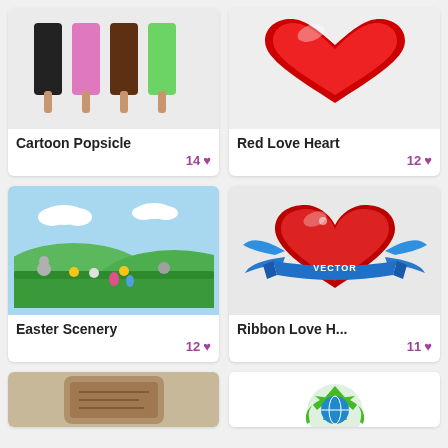[Figure (illustration): Cartoon popsicle illustration showing multiple colorful popsicles (black, pink, brown, green) with orange sticks on gray background]
Cartoon Popsicle
14 ♥
[Figure (illustration): Red 3D glossy love heart on light gray background]
Red Love Heart
12 ♥
[Figure (illustration): Easter scenery cartoon with green hills, sky, clouds, bunnies, chicks, and Easter eggs]
Easter Scenery
12 ♥
[Figure (illustration): Red heart with blue ribbon banner reading VECTOR and blue wing-like swirls on gray background]
Ribbon Love H...
11 ♥
[Figure (illustration): Partially visible stone tablet or map illustration on gray background (bottom partial card)]
[Figure (illustration): Partially visible green recycling arrows with globe icon on white background (bottom partial card)]